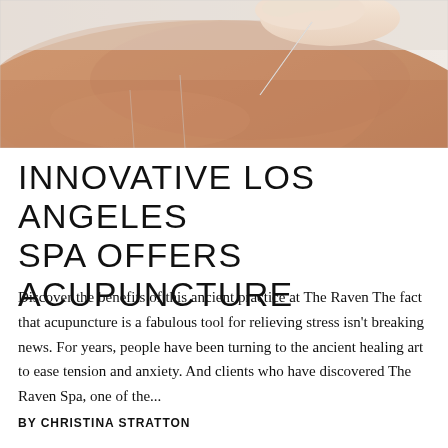[Figure (photo): Close-up photograph of acupuncture needles inserted into a person's skin (back/shoulder area), with a hand holding one of the needles. Warm skin tones with a blurred background.]
INNOVATIVE LOS ANGELES SPA OFFERS ACUPUNCTURE
Discover the benefits of this ancient practice at The Raven The fact that acupuncture is a fabulous tool for relieving stress isn't breaking news. For years, people have been turning to the ancient healing art to ease tension and anxiety. And clients who have discovered The Raven Spa, one of the...
BY CHRISTINA STRATTON